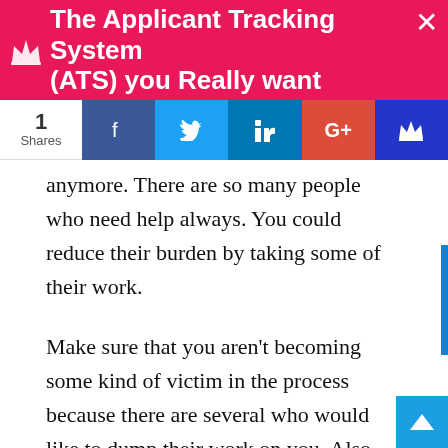The Applicant Tracking System (ATS) you Really want
1 Shares
anymore. There are so many people who need help always. You could reduce their burden by taking some of their work.
Make sure that you aren’t becoming some kind of victim in the process because there are several who would like to dump their work on you. Also remember not to work yourself up because someone else can’t finish their assignments. Your job is to help and take up responsibility and not